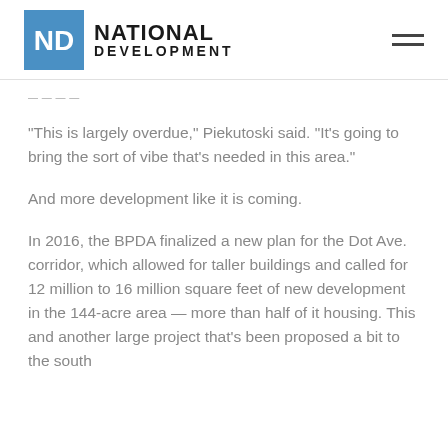NATIONAL DEVELOPMENT
“This is largely overdue,” Piekutoski said. “It’s going to bring the sort of vibe that’s needed in this area.”
And more development like it is coming.
In 2016, the BPDA finalized a new plan for the Dot Ave. corridor, which allowed for taller buildings and called for 12 million to 16 million square feet of new development in the 144-acre area — more than half of it housing. This and another large project that’s been proposed a bit to the south